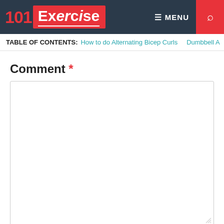101Exercise — MENU (navigation header)
TABLE OF CONTENTS: How to do Alternating Bicep Curls   Dumbbell A
Comment *
(comment textarea field)
Name *
(name input field)
Email *
(email input field)